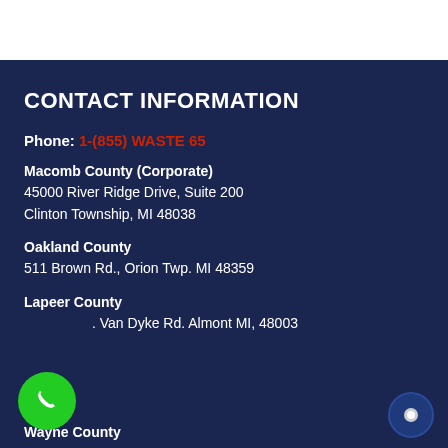CONTACT INFORMATION
Phone: 1-(855) WASTE 65
Macomb County (Corporate)
45000 River Ridge Drive, Suite 200
Clinton Township, MI 48038
Oakland County
511 Brown Rd., Orion Twp. MI 48359
Lapeer County
[#] Van Dyke Rd. Almont MI, 48003
Wayne County